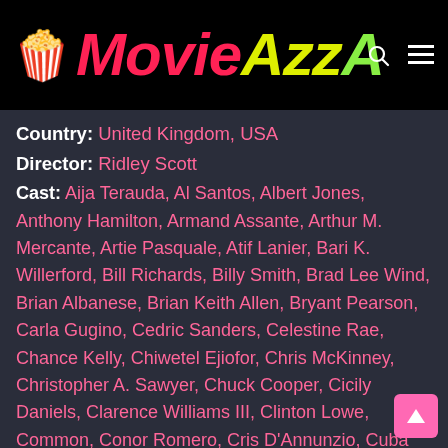MovieAzzA
Country: United Kingdom, USA
Director: Ridley Scott
Cast: Aija Terauda, Al Santos, Albert Jones, Anthony Hamilton, Armand Assante, Arthur M. Mercante, Artie Pasquale, Atif Lanier, Bari K. Willerford, Bill Richards, Billy Smith, Brad Lee Wind, Brian Albanese, Brian Keith Allen, Bryant Pearson, Carla Gugino, Cedric Sanders, Celestine Rae, Chance Kelly, Chiwetel Ejiofor, Chris McKinney, Christopher A. Sawyer, Chuck Cooper, Cicily Daniels, Clarence Williams III, Clinton Lowe, Common, Conor Romero, Cris D'Annunzio, Cuba Gooding Jr., Dan Moran, Daniel Farcher, Daniel Hilt, David Spearman, David Wayne Britton, Dawn A. Douglas, Denzel Washington, Dolores Winn, Dylan Gallagher, Eddie Goines, Eddie Rouse, Ephraim Benton, Eric Silver, Ernest Dancy, Fab 5 Freddy, Fatima Robinson, Frances Mignano, Gabriel Hansen, Gavin Grazer, George Lee Miles, Hamilton